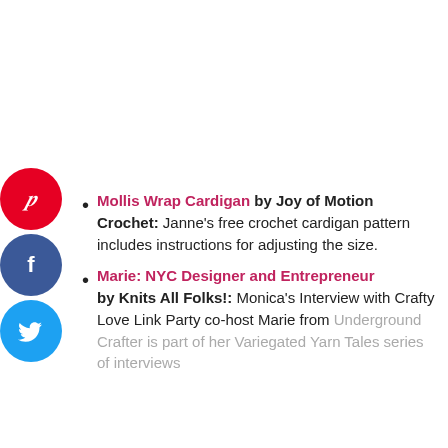[Figure (other): Pinterest social share button (red circle with P icon)]
[Figure (other): Facebook social share button (dark blue circle with f icon)]
[Figure (other): Twitter social share button (light blue circle with bird icon)]
Mollis Wrap Cardigan by Joy of Motion Crochet: Janne's free crochet cardigan pattern includes instructions for adjusting the size.
Marie: NYC Designer and Entrepreneur by Knits All Folks!: Monica's Interview with Crafty Love Link Party co-host Marie from Underground Crafter is part of her Variegated Yarn Tales series of interviews